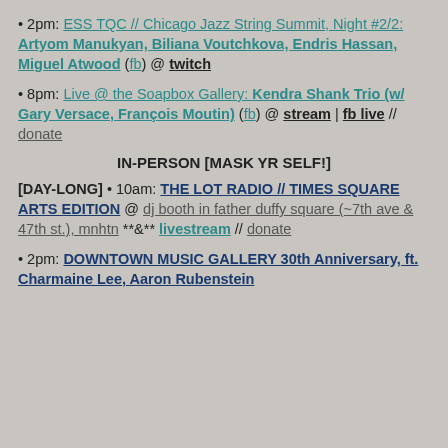• 2pm: ESS TQC // Chicago Jazz String Summit, Night #2/2: Artyom Manukyan, Biliana Voutchkova, Endris Hassan, Miguel Atwood (fb) @ twitch
• 8pm: Live @ the Soapbox Gallery: Kendra Shank Trio (w/ Gary Versace, François Moutin) (fb) @ stream | fb live // donate
IN-PERSON [MASK YR SELF!]
[DAY-LONG] • 10am: THE LOT RADIO // TIMES SQUARE ARTS EDITION @ dj booth in father duffy square (~7th ave & 47th st.), mnhtn **&** livestream // donate
• 2pm: DOWNTOWN MUSIC GALLERY 30th Anniversary, ft. Charmaine Lee, Aaron Rubenstein